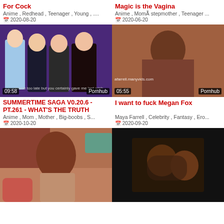For Cock
Anime , Redhead , Teenager , Young , ...
2020-08-20
Magic is the Vagina
Anime , MomÃ stepmother , Teenager ...
2020-06-20
[Figure (screenshot): Animated video thumbnail showing anime characters, duration 09:58, source Pornhub]
[Figure (photo): Video thumbnail showing a woman, watermark afarrell.manyvids.com, duration 05:55, source Pornhub]
SUMMERTIME SAGA V0.20.6 - PT.261 - WHAT'S THE TRUTH
Anime , Mom , Mother , Big-boobs , S...
2020-10-20
I want to fuck Megan Fox
Maya Farrell , Celebrity , Fantasy , Ero...
2020-09-20
[Figure (photo): Video thumbnail showing a Black woman on a bed]
[Figure (photo): Video thumbnail showing two people kissing in dark lighting]